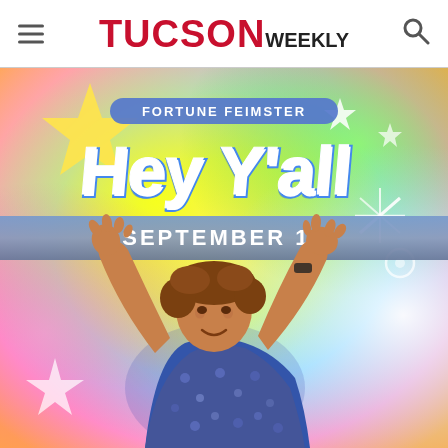TUCSON WEEKLY
[Figure (photo): Promotional poster for Fortune Feimster's 'Hey Y'all' comedy special/tour, with rainbow colorful background, stars, featuring Fortune Feimster with arms raised, dated September 11]